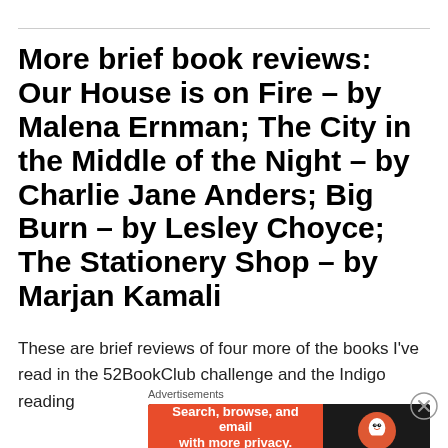More brief book reviews: Our House is on Fire – by Malena Ernman; The City in the Middle of the Night – by Charlie Jane Anders; Big Burn – by Lesley Choyce; The Stationery Shop – by Marjan Kamali
These are brief reviews of four more of the books I've read in the 52BookClub challenge and the Indigo reading
Advertisements
[Figure (other): DuckDuckGo advertisement banner: 'Search, browse, and email with more privacy. All in One Free App' with DuckDuckGo logo on dark background]